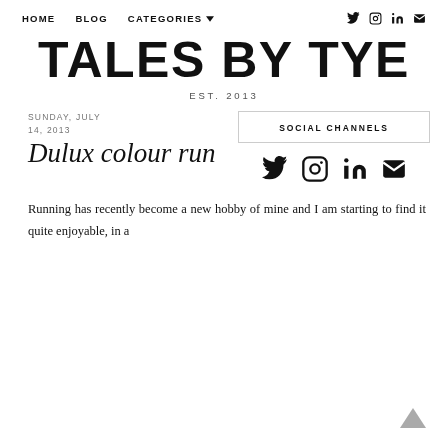HOME   BLOG   CATEGORIES   [social icons]
TALES BY TYE
EST. 2013
SUNDAY, JULY 14, 2013
Dulux colour run
SOCIAL CHANNELS
Running has recently become a new hobby of mine and I am starting to find it quite enjoyable, in a